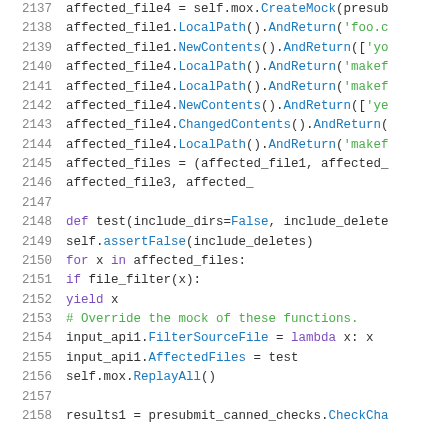[Figure (screenshot): Syntax-highlighted Python source code, lines 2137-2158, showing mock setup and a generator function test with affected_files, FilterSourceFile, AffectedFiles, ReplayAll, and CheckCha...]